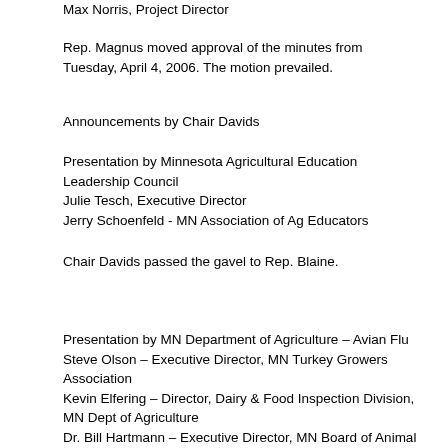Max Norris, Project Director
Rep. Magnus moved approval of the minutes from Tuesday, April 4, 2006. The motion prevailed.
Announcements by Chair Davids
Presentation by Minnesota Agricultural Education Leadership Council
Julie Tesch, Executive Director
Jerry Schoenfeld - MN Association of Ag Educators
Chair Davids passed the gavel to Rep. Blaine.
Presentation by MN Department of Agriculture – Avian Flu
Steve Olson – Executive Director, MN Turkey Growers Association
Kevin Elfering – Director, Dairy & Food Inspection Division, MN Dept of Agriculture
Dr. Bill Hartmann – Executive Director, MN Board of Animal